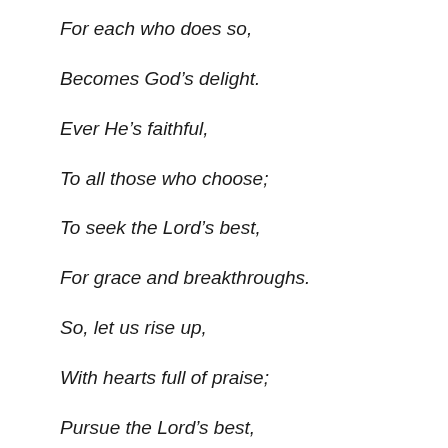For each who does so,
Becomes God’s delight.
Ever He’s faithful,
To all those who choose;
To seek the Lord’s best,
For grace and breakthroughs.
So, let us rise up,
With hearts full of praise;
Pursue the Lord’s best,